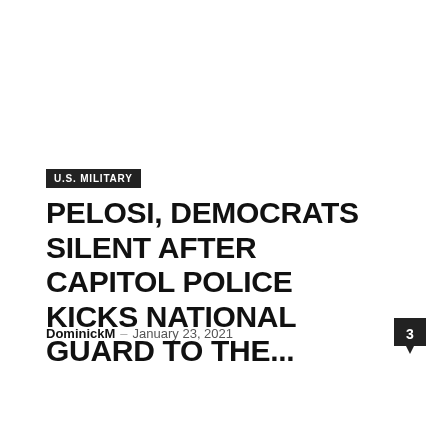U.S. MILITARY
PELOSI, DEMOCRATS SILENT AFTER CAPITOL POLICE KICKS NATIONAL GUARD TO THE...
DominickM – January 23, 2021